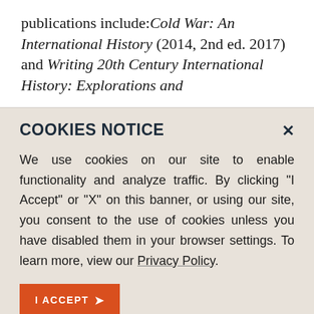publications include: Cold War: An International History (2014, 2nd ed. 2017) and Writing 20th Century International History: Explorations and
COOKIES NOTICE
We use cookies on our site to enable functionality and analyze traffic. By clicking "I Accept" or "X" on this banner, or using our site, you consent to the use of cookies unless you have disabled them in your browser settings. To learn more, view our Privacy Policy.